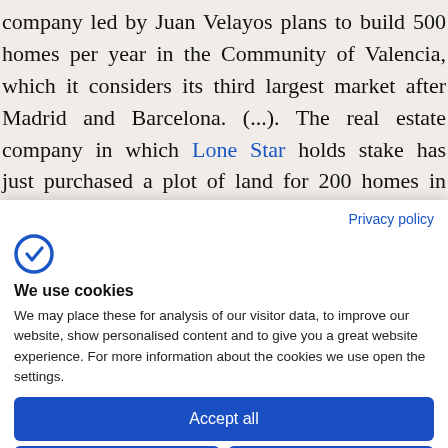company led by Juan Velayos plans to build 500 homes per year in the Community of Valencia, which it considers its third largest market after Madrid and Barcelona. (...). The real estate company in which Lone Star holds stake has just purchased a plot of land for 200 homes in the neighbourhood of Benicalp and it already owns plots for another 450 homes
Privacy policy
[Figure (logo): Consentframework logo — stylized letter C with a checkmark, in blue]
We use cookies
We may place these for analysis of our visitor data, to improve our website, show personalised content and to give you a great website experience. For more information about the cookies we use open the settings.
Accept all
Deny
No, adjust